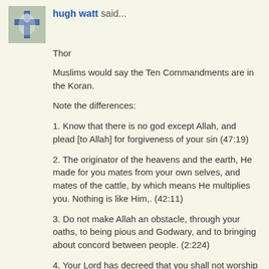hugh watt said...
Thor
Muslims would say the Ten Commandments are in the Koran.
Note the differences:
1. Know that there is no god except Allah, and plead [to Allah] for forgiveness of your sin (47:19)
2. The originator of the heavens and the earth, He made for you mates from your own selves, and mates of the cattle, by which means He multiplies you. Nothing is like Him,. (42:11)
3. Do not make Allah an obstacle, through your oaths, to being pious and Godwary, and to bringing about concord between people. (2:224)
4. Your Lord has decreed that you shall not worship anyone except Him, and [He has enjoined] kindness to